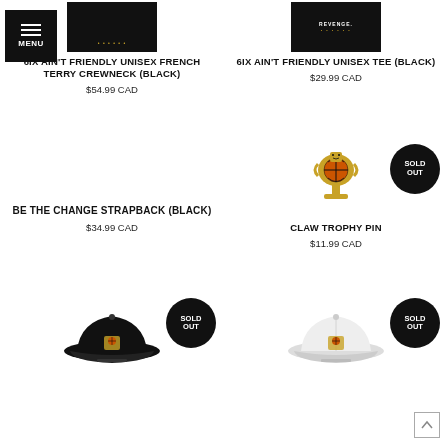[Figure (screenshot): Navigation menu button (black square with hamburger icon and MENU text)]
[Figure (photo): 6IX AIN'T FRIENDLY UNISEX FRENCH TERRY CREWNECK (BLACK) - black sweatshirt product image]
6IX AIN'T FRIENDLY UNISEX FRENCH TERRY CREWNECK (BLACK)
$54.99 CAD
[Figure (photo): 6IX AIN'T FRIENDLY UNISEX TEE (BLACK) - black tee product image]
6IX AIN'T FRIENDLY UNISEX TEE (BLACK)
$29.99 CAD
BE THE CHANGE STRAPBACK (BLACK)
$34.99 CAD
[Figure (photo): Claw Trophy Pin - pixel art style basketball trophy pin, with SOLD OUT badge]
CLAW TROPHY PIN
$11.99 CAD
[Figure (photo): Black dad hat with embroidered claw trophy logo, SOLD OUT badge]
[Figure (photo): White dad hat with embroidered claw trophy logo, SOLD OUT badge]